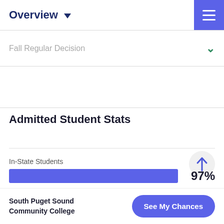Overview ▼
Fall Regular Decision
Admitted Student Stats
In-State Students
[Figure (bar-chart): In-State Students]
South Puget Sound Community College
See My Chances